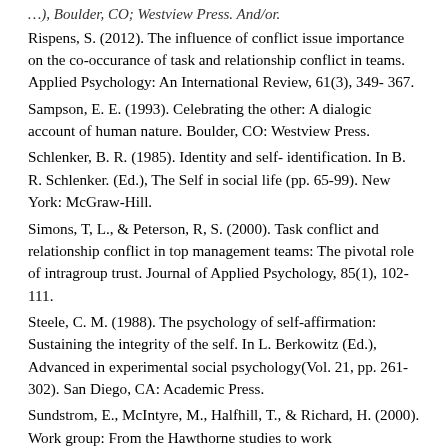Rispens, S. (2012). The influence of conflict issue importance on the co-occurance of task and relationship conflict in teams. Applied Psychology: An International Review, 61(3), 349- 367.
Sampson, E. E. (1993). Celebrating the other: A dialogic account of human nature. Boulder, CO: Westview Press.
Schlenker, B. R. (1985). Identity and self- identification. In B. R. Schlenker. (Ed.), The Self in social life (pp. 65-99). New York: McGraw-Hill.
Simons, T, L., & Peterson, R, S. (2000). Task conflict and relationship conflict in top management teams: The pivotal role of intragroup trust. Journal of Applied Psychology, 85(1), 102-111.
Steele, C. M. (1988). The psychology of self-affirmation: Sustaining the integrity of the self. In L. Berkowitz (Ed.), Advanced in experimental social psychology(Vol. 21, pp. 261-302). San Diego, CA: Academic Press.
Sundstrom, E., McIntyre, M., Halfhill, T., & Richard, H. (2000). Work group: From the Hawthorne studies to work groups of the 1990s and beyond. Group Dynamics: The...